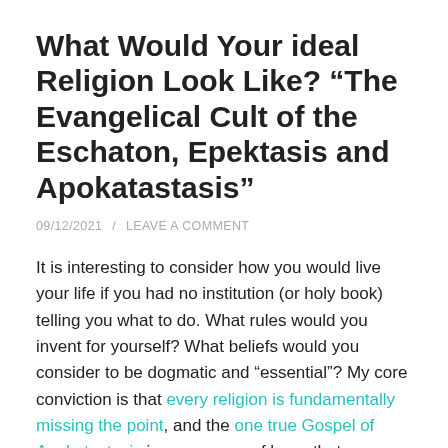What Would Your ideal Religion Look Like? “The Evangelical Cult of the Eschaton, Epektasis and Apokatastasis”
09/12/2021 / LEAVE A COMMENT
It is interesting to consider how you would live your life if you had no institution (or holy book) telling you what to do. What rules would you invent for yourself? What beliefs would you consider to be dogmatic and “essential”? My core conviction is that every religion is fundamentally missing the point, and the one true Gospel of Apokatastasis is a message of hope that transcends all religious categories. As such, any attempt to invent a new code of conduct and set of beliefs is doomed to failure. Nevertheless, it is an interesting